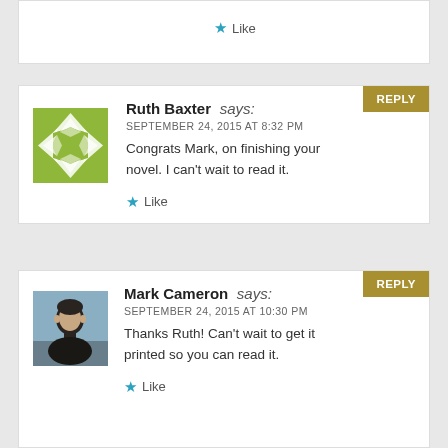Like
Ruth Baxter says:
SEPTEMBER 24, 2015 AT 8:32 PM
Congrats Mark, on finishing your novel. I can't wait to read it.
Like
Mark Cameron says:
SEPTEMBER 24, 2015 AT 10:30 PM
Thanks Ruth! Can't wait to get it printed so you can read it.
Like